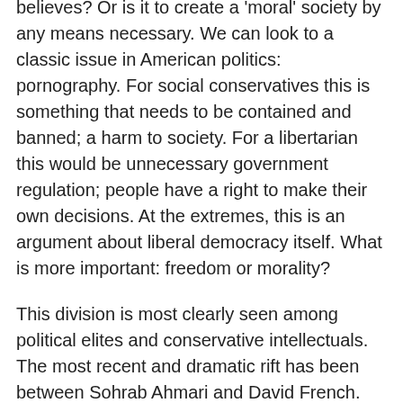believes? Or is it to create a 'moral' society by any means necessary. We can look to a classic issue in American politics: pornography. For social conservatives this is something that needs to be contained and banned; a harm to society. For a libertarian this would be unnecessary government regulation; people have a right to make their own decisions. At the extremes, this is an argument about liberal democracy itself. What is more important: freedom or morality?
This division is most clearly seen among political elites and conservative intellectuals. The most recent and dramatic rift has been between Sohrab Ahmari and David French. Armari published a piece online titled “Against David French-ism”.
He claims to be inspired by seeing a poster for a children's drag queen reading hour at public library in